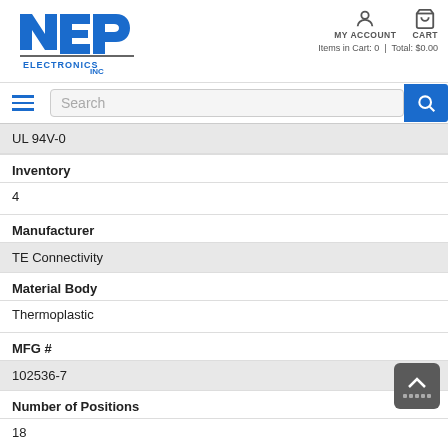[Figure (logo): NEP Electronics Inc logo in blue]
MY ACCOUNT  CART  Items in Cart: 0 | Total: $0.00
UL 94V-0
Inventory
4
Manufacturer
TE Connectivity
Material Body
Thermoplastic
MFG #
102536-7
Number of Positions
18